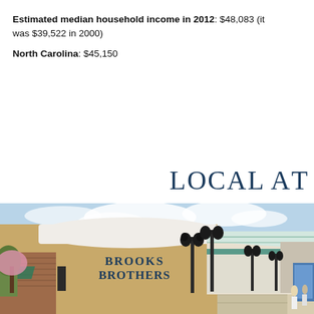Estimated median household income in 2012: $48,083 (it was $39,522 in 2000)

North Carolina: $45,150
LOCAL AT
[Figure (photo): Outdoor shopping center with Brooks Brothers store on left, lamp posts along a pedestrian walkway, and a large covered area with glass roof canopy on the right. Brick and stucco facades, clear sky with clouds.]